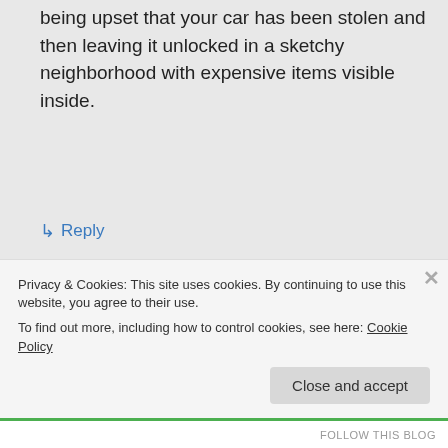being upset that your car has been stolen and then leaving it unlocked in a sketchy neighborhood with expensive items visible inside.
↳ Reply
Straightup on May 13, 2011 at 4:53 pm
Eat your heart out and stop hating on the woman. You know you wish
Privacy & Cookies: This site uses cookies. By continuing to use this website, you agree to their use.
To find out more, including how to control cookies, see here: Cookie Policy
Close and accept